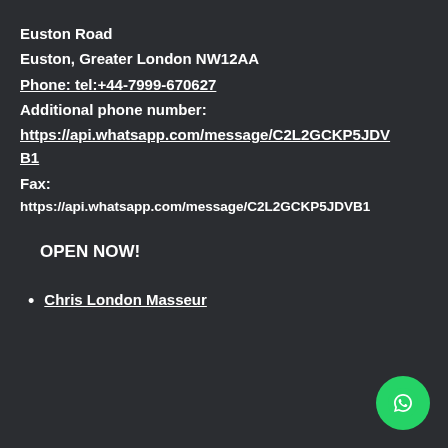Euston Road
Euston, Greater London NW12AA
Phone: tel:+44-7999-670627
Additional phone number:
https://api.whatsapp.com/message/C2L2GCKP5JDVB1
Fax:
https://api.whatsapp.com/message/C2L2GCKP5JDVB1
OPEN NOW!
Chris London Masseur
[Figure (logo): WhatsApp logo button (green circle with phone/chat icon)]